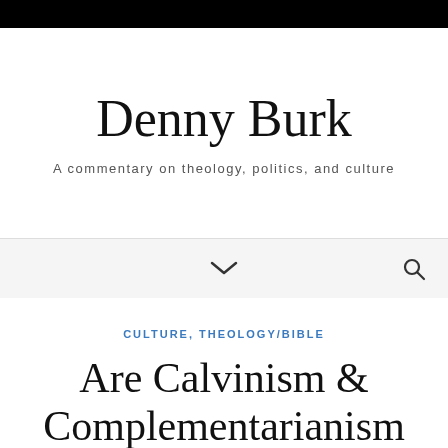Denny Burk
A commentary on theology, politics, and culture
CULTURE, THEOLOGY/BIBLE
Are Calvinism &